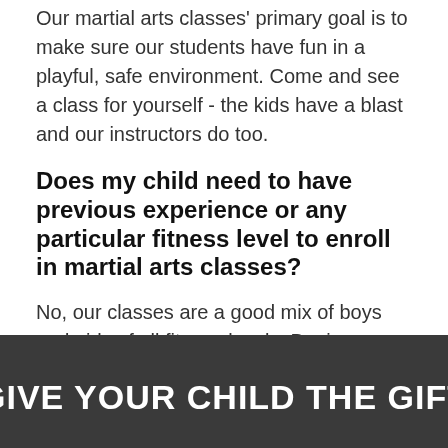Our martial arts classes' primary goal is to make sure our students have fun in a playful, safe environment. Come and see a class for yourself - the kids have a blast and our instructors do too.
Does my child need to have previous experience or any particular fitness level to enroll in martial arts classes?
No, our classes are a good mix of boys and girls of all fitness levels. Beginners train alongside some of the more experienced kids, helping each other out in a fun team environment.
[Figure (photo): Dark gray/charcoal background section with bold white uppercase text reading 'GIVE YOUR CHILD THE GIFT']